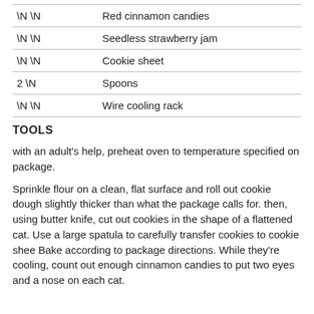| \N \N | Red cinnamon candies |
| \N \N | Seedless strawberry jam |
| \N \N | Cookie sheet |
| 2 \N | Spoons |
| \N \N | Wire cooling rack |
TOOLS
with an adult's help, preheat oven to temperature specified on package.
Sprinkle flour on a clean, flat surface and roll out cookie dough slightly thicker than what the package calls for. then, using butter knife, cut out cookies in the shape of a flattened cat. Use a large spatula to carefully transfer cookies to cookie shee Bake according to package directions. While they're cooling, count out enough cinnamon candies to put two eyes and a nose on each cat.